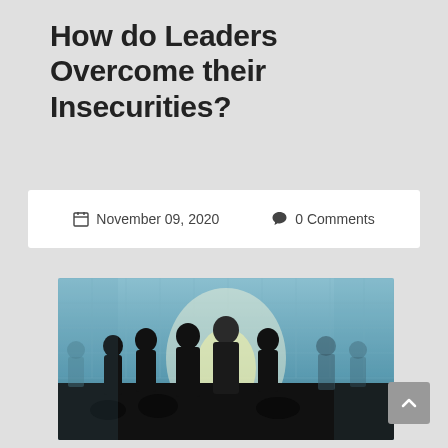How do Leaders Overcome their Insecurities?
November 09, 2020   0 Comments
[Figure (photo): Silhouettes of business people standing in a large glass-windowed office space with backlighting creating a dramatic contrast. Multiple figures are visible, some shaking hands or interacting, with a bright central light source.]